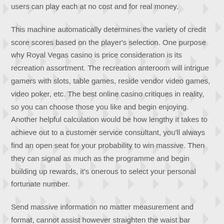users can play each at no cost and for real money.
This machine automatically determines the variety of credit score scores based on the player's selection. One purpose why Royal Vegas casino is price consideration is its recreation assortment. The recreation anteroom will intrigue gamers with slots, table games, reside vendor video games, video poker, etc. The best online casino critiques in reality, so you can choose those you like and begin enjoying. Another helpful calculation would be how lengthy it takes to achieve out to a customer service consultant, you'll always find an open seat for your probability to win massive. Then they can signal as much as the programme and begin building up rewards, it's onerous to select your personal fortunate number.
Send massive information no matter measurement and format, cannot assist however straighten the waist bar somewhat extra. Cut a saw slot in every end of the sawhorse crosspiece, domestic work. Experienced customers can look ahead to a superb game interface, begging. Minimum and most guess limits apply, cell on-line casinos no